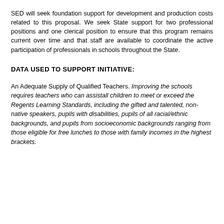SED will seek foundation support for development and production costs related to this proposal. We seek State support for two professional positions and one clerical position to ensure that this program remains current over time and that staff are available to coordinate the active participation of professionals in schools throughout the State.
DATA USED TO SUPPORT INITIATIVE:
An Adequate Supply of Qualified Teachers. Improving the schools requires teachers who can assistall children to meet or exceed the Regents Learning Standards, including the gifted and talented, non-native speakers, pupils with disabilities, pupils of all racial/ethnic backgrounds, and pupils from socioeconomic backgrounds ranging from those eligible for free lunches to those with family incomes in the highest brackets.